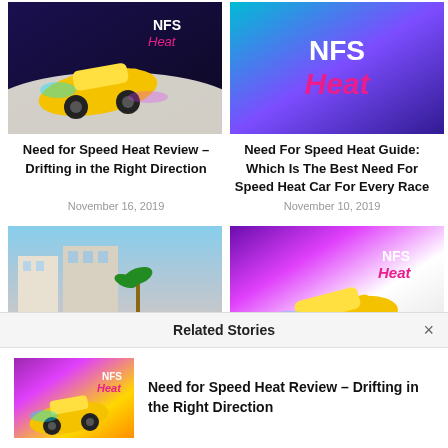[Figure (photo): NFS Heat game key art showing yellow sports car drifting with NFS Heat logo]
[Figure (photo): NFS Heat logo on purple/teal gradient background]
Need for Speed Heat Review – Drifting in the Right Direction
November 16, 2019
Need For Speed Heat Guide: Which Is The Best Need For Speed Heat Car For Every Race
November 10, 2019
[Figure (photo): NFS Heat gameplay screenshot showing yellow car in city street race]
[Figure (photo): NFS Heat key art with yellow car drifting with NFS Heat logo]
Related Stories
[Figure (photo): Thumbnail of NFS Heat yellow car art]
Need for Speed Heat Review – Drifting in the Right Direction